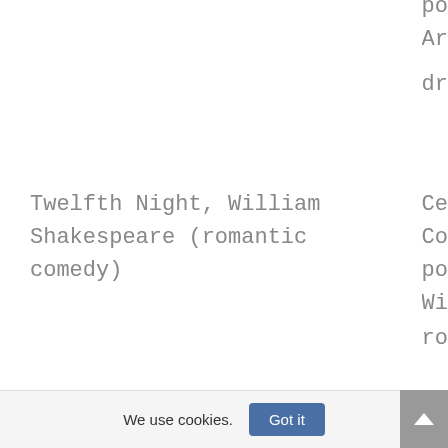po
Ar
dr
Twelfth Night, William Shakespeare (romantic comedy)
Ce
Co
po
Wi
ro
We use cookies.  Got it